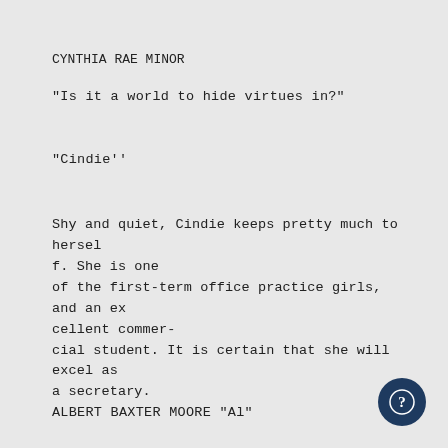CYNTHIA RAE MINOR
"Is it a world to hide virtues in?"
"Cindie''
Shy and quiet, Cindie keeps pretty much to herself. She is one of the first-term office practice girls, and an excellent commercial student. It is certain that she will excel as a secretary.
ALBERT BAXTER MOORE "Al"